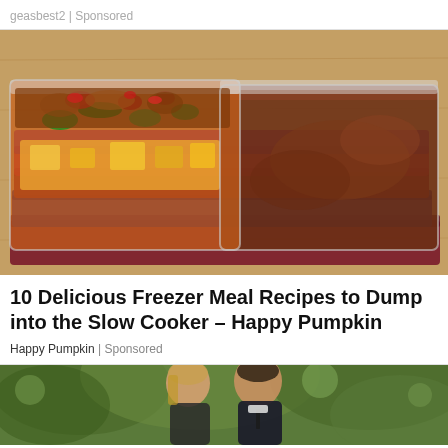geasbest2 | Sponsored
[Figure (photo): Stack of clear plastic freezer bags filled with various colorful meal ingredients including vegetables, meat, and sauces, sitting on a wooden cutting board]
10 Delicious Freezer Meal Recipes to Dump into the Slow Cooker – Happy Pumpkin
Happy Pumpkin | Sponsored
[Figure (photo): Couple facing each other outdoors with green foliage background, partial view showing heads and shoulders]